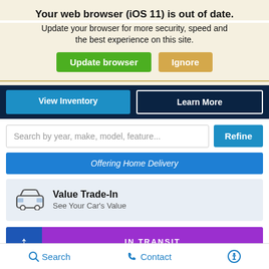Your web browser (iOS 11) is out of date.
Update your browser for more security, speed and the best experience on this site.
Update browser   Ignore
View Inventory
Learn More
Search by year, make, model, feature...
Refine
Offering Home Delivery
Value Trade-In
See Your Car's Value
IN TRANSIT
2023 Chevrolet Suburban LT
Search   Contact   (accessibility icon)